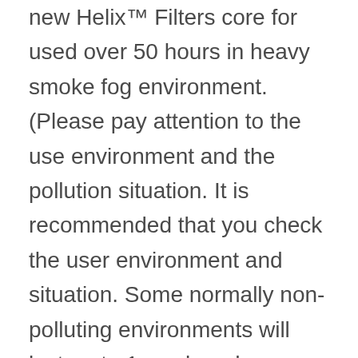Also, it is recommend to change a new Helix™ Filters core for used over 50 hours in heavy smoke fog environment. (Please pay attention to the use environment and the pollution situation. It is recommended that you check the user environment and situation. Some normally non-polluting environments will last up to 1 week under normal usage. For environments with high requirements and serious pollution , Such as diseases and colds, severe air pollution, it is recommended to